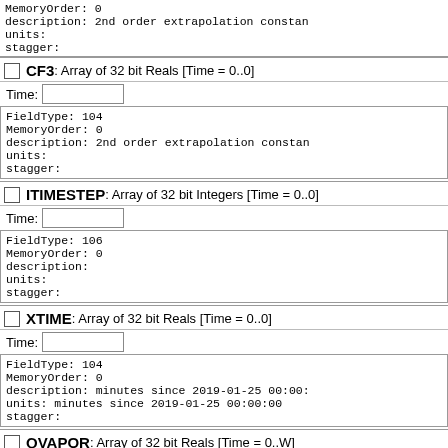MemoryOrder: 0
description: 2nd order extrapolation constan
units:
stagger:
CF3: Array of 32 bit Reals [Time = 0..0]
Time:
FieldType: 104
MemoryOrder: 0
description: 2nd order extrapolation constan
units:
stagger:
ITIMESTEP: Array of 32 bit Integers [Time = 0..0]
Time:
FieldType: 106
MemoryOrder: 0
description:
units:
stagger:
XTIME: Array of 32 bit Reals [Time = 0..0]
Time:
FieldType: 104
MemoryOrder: 0
description: minutes since 2019-01-25 00:00:
units: minutes since 2019-01-25 00:00:00
stagger:
QVAPOR: Array of 32 bit Reals [Time = 0..W]